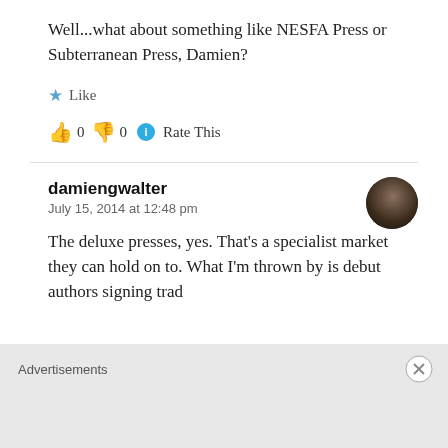Well...what about something like NESFA Press or Subterranean Press, Damien?
★ Like
👍 0 👎 0 ℹ Rate This
damiengwalter
July 15, 2014 at 12:48 pm
The deluxe presses, yes. That's a specialist market they can hold on to. What I'm thrown by is debut authors signing trad
Advertisements